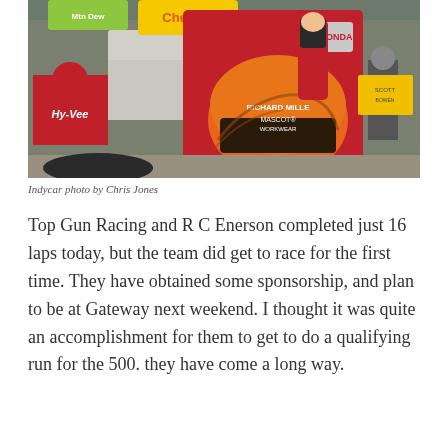[Figure (photo): Racing driver in red suit and red orange helmet with 'Richard Mille' and 'Mascot Workwear' branding, standing in pit lane. Team member in Hy-Vee branded gear visible in background, Cheetos signage in background.]
Indycar photo by Chris Jones
Top Gun Racing and R C Enerson completed just 16 laps today, but the team did get to race for the first time. They have obtained some sponsorship, and plan to be at Gateway next weekend. I thought it was quite an accomplishment for them to get to do a qualifying run for the 500. they have come a long way.